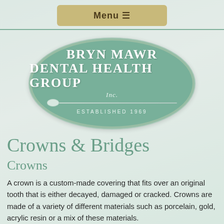Menu ≡
[Figure (logo): Bryn Mawr Dental Health Group Inc. oval logo in teal/green with dental tool graphic, Established 1969]
Crowns & Bridges
Crowns
A crown is a custom-made covering that fits over an original tooth that is either decayed, damaged or cracked. Crowns are made of a variety of different materials such as porcelain, gold, acrylic resin or a mix of these materials.